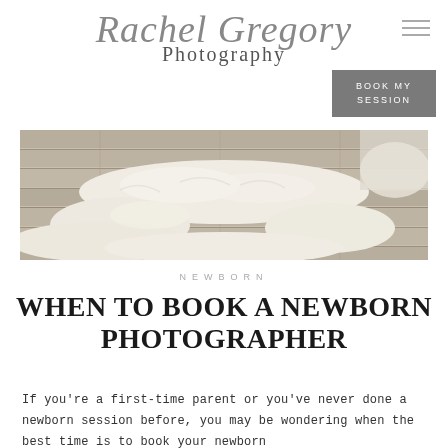Rachel Gregory Photography
BOOK MY SESSION
[Figure (photo): A rustic wooden bed frame or bench on weathered plank flooring, draped with a fluffy cream/ivory faux fur or sheepskin rug, styled as a newborn photography prop.]
NEWBORN
WHEN TO BOOK A NEWBORN PHOTOGRAPHER
If you're a first-time parent or you've never done a newborn session before, you may be wondering when the best time is to book your newborn